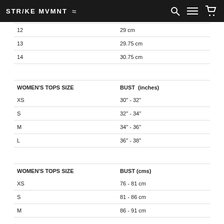STR/KE MVMNT
|  |  |
| --- | --- |
| 12 | 29 cm |
| 13 | 29.75 cm |
| 14 | 30.75 cm |
| WOMEN'S TOPS SIZE | BUST  (inches) |
| --- | --- |
| XS | 30" - 32" |
| S | 32" - 34" |
| M | 34" - 36" |
| L | 36" - 38" |
| WOMEN'S TOPS SIZE | BUST (cms) |
| --- | --- |
| XS | 76 - 81 cm |
| S | 81 - 86 cm |
| M | 86 - 91 cm |